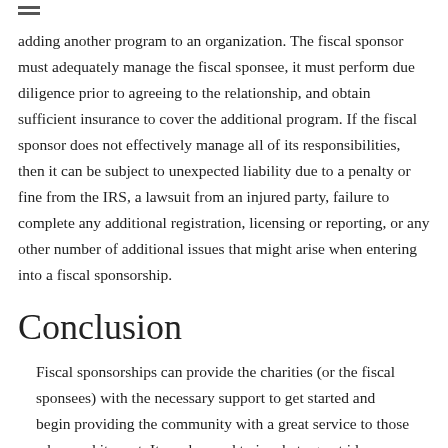adding another program to an organization. The fiscal sponsor must adequately manage the fiscal sponsee, it must perform due diligence prior to agreeing to the relationship, and obtain sufficient insurance to cover the additional program. If the fiscal sponsor does not effectively manage all of its responsibilities, then it can be subject to unexpected liability due to a penalty or fine from the IRS, a lawsuit from an injured party, failure to complete any additional registration, licensing or reporting, or any other number of additional issues that might arise when entering into a fiscal sponsorship.
Conclusion
Fiscal sponsorships can provide the charities (or the fiscal sponsees) with the necessary support to get started and begin providing the community with a great service to those who need it most. It can be used to incubate great ideas before they are ready